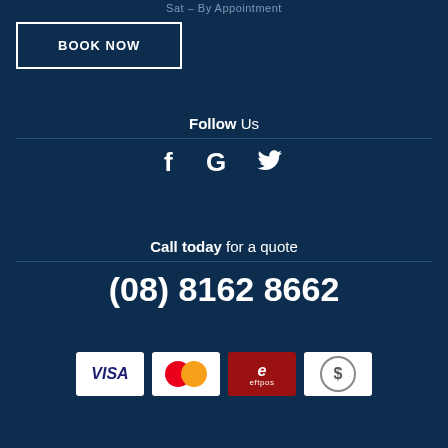Sat – By Appointment
BOOK NOW
Follow Us
[Figure (other): Social media icons: Facebook (f), Google (G), Twitter (bird)]
Call today for a quote
(08) 8162 8662
[Figure (other): Payment method icons: VISA, Mastercard, eftpos, cash/dollar]